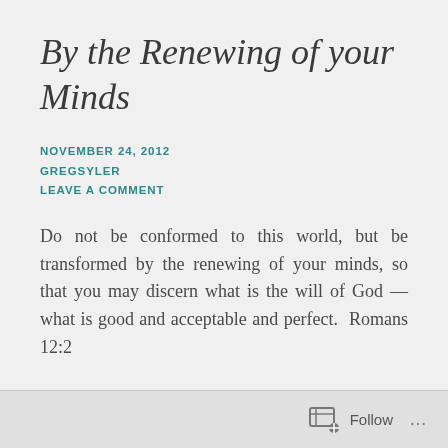By the Renewing of your Minds
NOVEMBER 24, 2012
GREGSYLER
LEAVE A COMMENT
Do not be conformed to this world, but be transformed by the renewing of your minds, so that you may discern what is the will of God — what is good and acceptable and perfect.  Romans 12:2
………………….
Follow ...